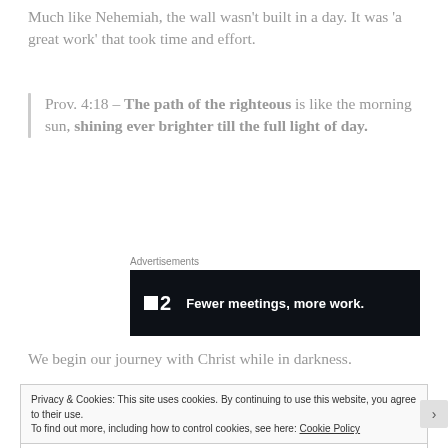Much like Nehemiah, the wall wasn't built in a day. It was 'a great work' that took time and effort.
Prov. 4:18 – The path of the righteous is like the morning sun, shining ever brighter till the full light of day.
[Figure (other): Advertisement banner with dark background showing logo 'F2' and slogan 'Fewer meetings, more work.']
We begin our journey with Christ while in darkness.
Privacy & Cookies: This site uses cookies. By continuing to use this website, you agree to their use. To find out more, including how to control cookies, see here: Cookie Policy
Close and accept